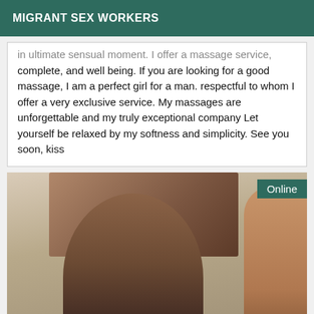MIGRANT SEX WORKERS
in ultimate sensual moment. I offer a massage service, complete, and well being. If you are looking for a good massage, I am a perfect girl for a man. respectful to whom I offer a very exclusive service. My massages are unforgettable and my truly exceptional company Let yourself be relaxed by my softness and simplicity. See you soon, kiss
[Figure (photo): A woman smiling in an indoor setting with a decorative painting on the wall behind her. An 'Online' badge appears in the top right corner.]